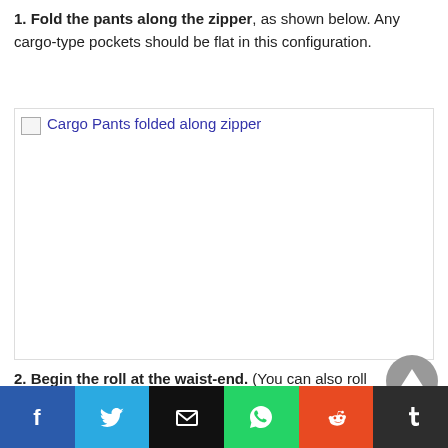1. Fold the pants along the zipper, as shown below. Any cargo-type pockets should be flat in this configuration.
[Figure (photo): Broken image placeholder labeled 'Cargo Pants folded along zipper']
2. Begin the roll at the waist-end. (You can also roll multiple pants in one pile, but I wouldn't recommend more
Social share bar: Facebook, Twitter, Email, WhatsApp, Reddit, Tumblr